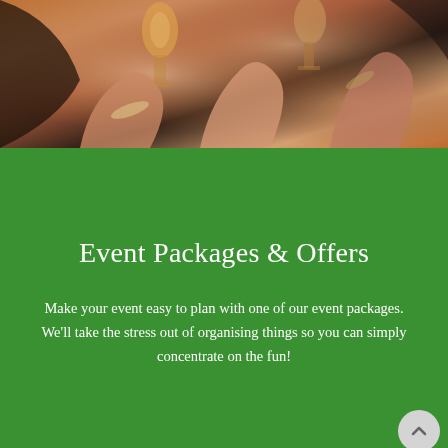[Figure (photo): Close-up photo of people toasting with champagne glasses, hands and wrists visible, some wearing bracelets and jewellery, warm orange/amber tones]
Event Packages & Offers
Make your event easy to plan with one of our event packages. We'll take the stress out of organising things so you can simply concentrate on the fun!
Our Event Packages Top Picks